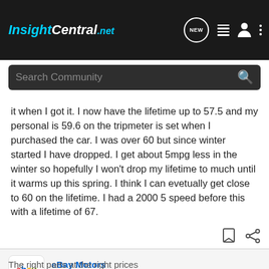InsightCentral.net
Search Community
it when I got it. I now have the lifetime up to 57.5 and my personal is 59.6 on the tripmeter is set when I purchased the car. I was over 60 but since winter started I have dropped. I get about 5mpg less in the winter so hopefully I won't drop my lifetime to much until it warms up this spring. I think I can evetually get close to 60 on the lifetime. I had a 2000 5 speed before this with a lifetime of 67.
eBay Motors
Ad
The right parts at the right prices